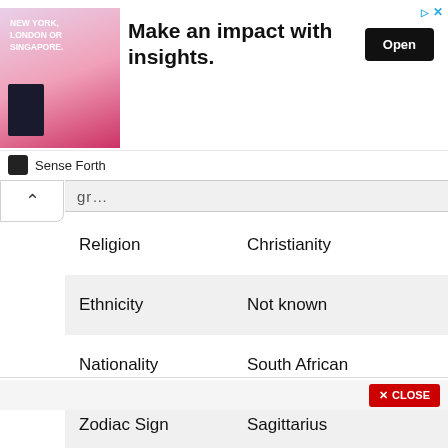[Figure (screenshot): Advertisement banner: image of businessman with text 'NEW YORK, LONDON OR SINGAPORE.' on left; 'Make an impact with insights.' headline in center; black 'Open' button on right; blue triangle and X close icons top right. Below banner: 'Sense Forth' source label with icon.]
| Religion | Christianity |
| Ethnicity | Not known |
| Nationality | South African |
| Zodiac Sign | Sagittarius |
[Figure (screenshot): Red 'X CLOSE' button at bottom right of the page area.]